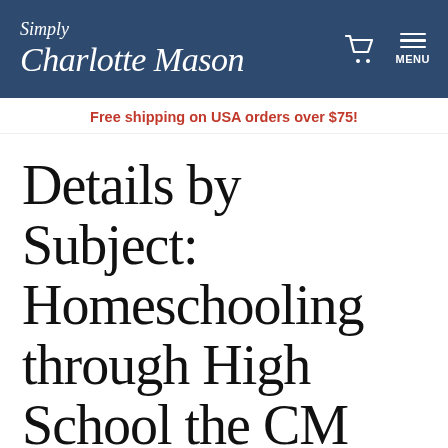Simply Charlotte Mason — MENU
Free shipping on USA orders over $75!
Details by Subject: Homeschooling through High School the CM Way, part 2
Sonya Shafer /
Charlotte Mason Method, Books & Resources, High School